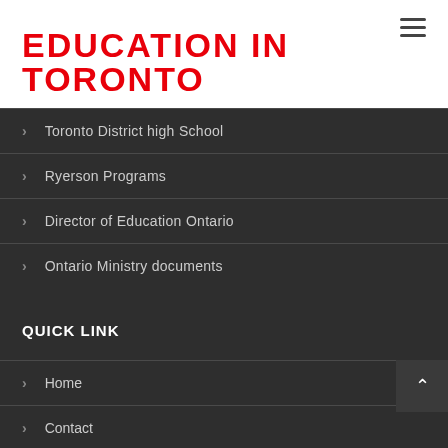EDUCATION IN TORONTO
Toronto District high School
Ryerson Programs
Director of Education Ontario
Ontario Ministry documents
QUICK LINK
Home
Contact